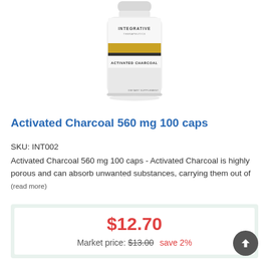[Figure (photo): White supplement bottle labeled 'Integrative Therapeutics Activated Charcoal' dietary supplement]
Activated Charcoal 560 mg 100 caps
SKU: INT002
Activated Charcoal 560 mg 100 caps - Activated Charcoal is highly porous and can absorb unwanted substances, carrying them out of (read more)
$12.70
Market price: $13.00  save 2%